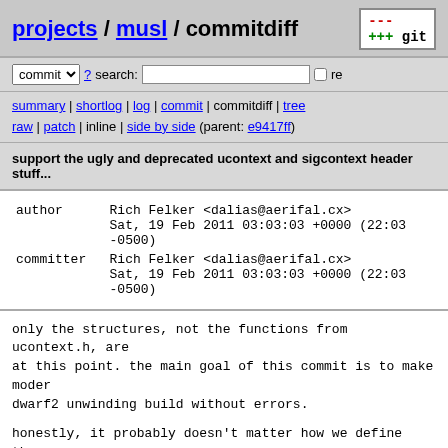projects / musl / commitdiff
commit ? search: re
summary | shortlog | log | commit | commitdiff | tree
raw | patch | inline | side by side (parent: e9417ff)
support the ugly and deprecated ucontext and sigcontext header stuff...
| field | value |
| --- | --- |
| author | Rich Felker <dalias@aerifal.cx>
Sat, 19 Feb 2011 03:03:03 +0000 (22:03 -0500) |
| committer | Rich Felker <dalias@aerifal.cx>
Sat, 19 Feb 2011 03:03:03 +0000 (22:03 -0500) |
only the structures, not the functions from ucontext.h, are at this point. the main goal of this commit is to make modern dwarf2 unwinding build without errors.

honestly, it probably doesn't matter how we define these as they have members with the right names to prevent errors when compiling libgcc. the only time they will be used is for propagating exceptions across signal-handler boundaries, which invokes undefined behavior anyway. but as-is, they're probably correct and may be useful